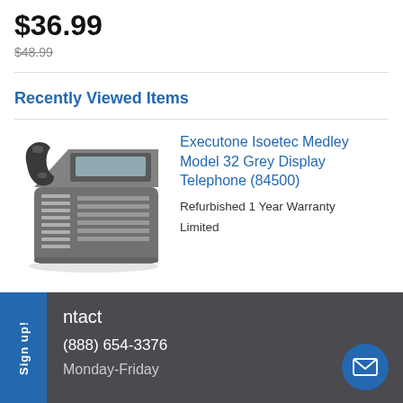$36.99
$48.99
Recently Viewed Items
[Figure (photo): Executone Isoetec Medley Model 32 Grey Display Telephone product photo]
Executone Isoetec Medley Model 32 Grey Display Telephone (84500)
Refurbished 1 Year Warranty
Limited
Sign up! | Contact | (888) 654-3376 | Monday-Friday